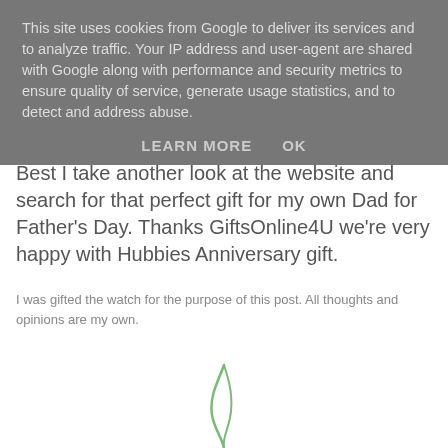This site uses cookies from Google to deliver its services and to analyze traffic. Your IP address and user-agent are shared with Google along with performance and security metrics to ensure quality of service, generate usage statistics, and to detect and address abuse.
LEARN MORE   OK
Best I take another look at the website and search for that perfect gift for my own Dad for Father's Day. Thanks GiftsOnline4U we're very happy with Hubbies Anniversary gift.
I was gifted the watch for the purpose of this post. All thoughts and opinions are my own.
[Figure (illustration): Partial signature or decorative script illustration in green, visible at the bottom center of the page]